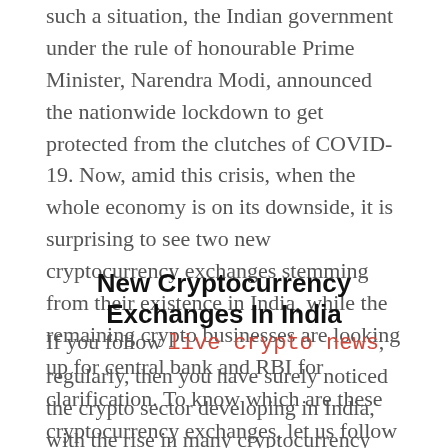such a situation, the Indian government under the rule of honourable Prime Minister, Narendra Modi, announced the nationwide lockdown to get protected from the clutches of COVID-19. Now, amid this crisis, when the whole economy is on its downside, it is surprising to see two new cryptocurrency exchanges stemming from their existence in India, while the remaining crypto businesses are looking up for central bank and RBI for clarification. To know which are these cryptocurrency exchanges, let us follow the blog below.
New Cryptocurrency Exchanges In India
If you follow live crypto news, regularly, then you have surely noticed the crypto sector developing in India, with the rise in many cryptocurrency exchanges and